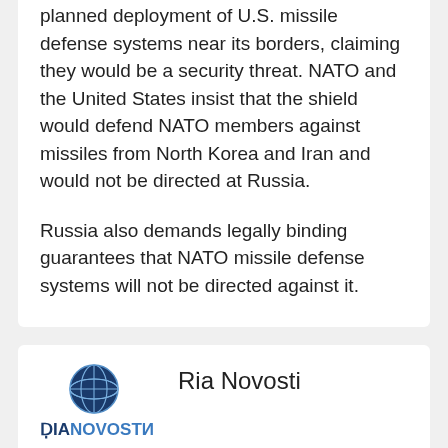planned deployment of U.S. missile defense systems near its borders, claiming they would be a security threat. NATO and the United States insist that the shield would defend NATO members against missiles from North Korea and Iran and would not be directed at Russia.
Russia also demands legally binding guarantees that NATO missile defense systems will not be directed against it.
[Figure (logo): RIA Novosti logo: globe icon above stylized text reading RIANOVOSTI]
Ria Novosti
RIA Novosti was Russia's leading news agency in terms of multimedia technologies, website audience reach and quoting by the Russian media.